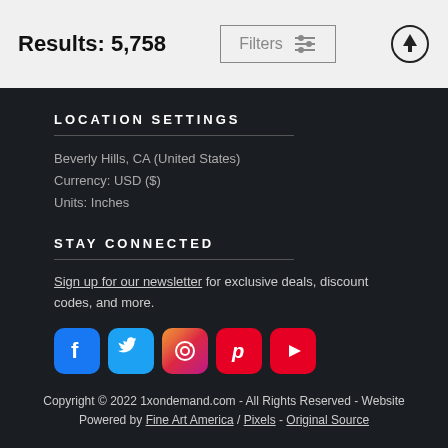Results: 5,758
Filters
LOCATION SETTINGS
Beverly Hills, CA (United States)
Currency: USD ($)
Units: Inches
STAY CONNECTED
Sign up for our newsletter for exclusive deals, discount codes, and more.
[Figure (infographic): Social media icons: Facebook, Twitter, Instagram, Pinterest, YouTube]
Copyright © 2022 1xondemand.com - All Rights Reserved - Website Powered by Fine Art America / Pixels - Original Source